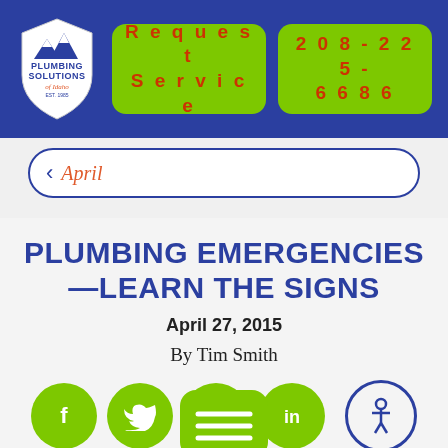[Figure (logo): Plumbing Solutions of Idaho shield logo with mountain peaks and text]
Request Service
208-225-6686
April
PLUMBING EMERGENCIES—LEARN THE SIGNS
April 27, 2015
By Tim Smith
[Figure (infographic): Social media share icons: Facebook (f), Twitter (bird), Google+ (?), LinkedIn (in) as green circles, plus accessibility icon circle, and a green chat/menu bubble overlay]